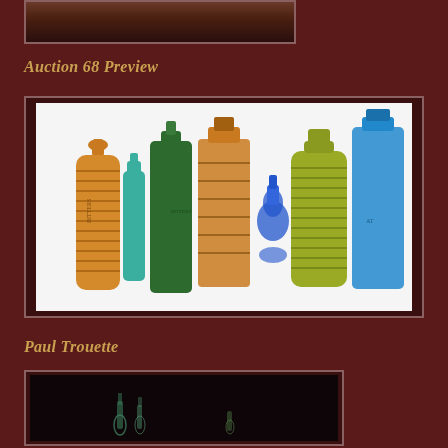[Figure (photo): Partial view of a photo at top of page, dark background with reddish-brown tones]
Auction 68 Preview
[Figure (photo): Collection of antique glass bottles in various colors including amber, teal, green, and blue, displayed against a white background]
Paul Trouette
[Figure (photo): Dark background photo showing small bottles or glass objects with dim lighting]